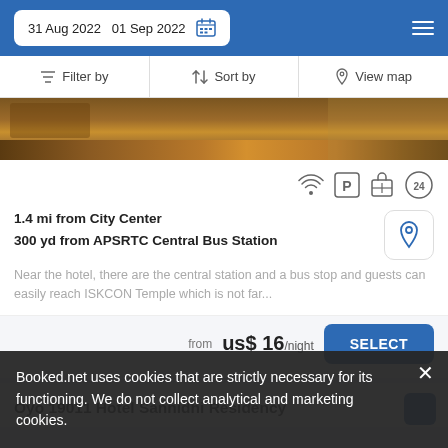31 Aug 2022  01 Sep 2022
Filter by   Sort by   View map
[Figure (photo): Hotel room photo showing wooden furniture and floor]
1.4 mi from City Center
300 yd from APSRTC Central Bus Station
Near the hotel, there are the central station and a bus stop and guests can easily reach ISKCON Temple which is not far...
from  us$ 16/night    SELECT
Oyo 19011 Hotel Sannidhi Residency
Booked.net uses cookies that are strictly necessary for its functioning. We do not collect analytical and marketing cookies.